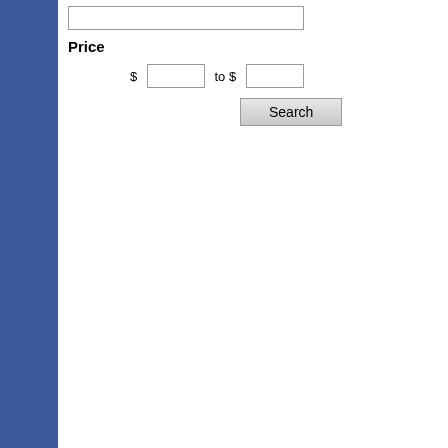Price
$ [input] to $ [input]
Search
Vintage Kids Pedal Cars that are p... loved ones. With ChildrensPedalCa... Weshopping, superior quality Vinta... Classic Pedal Cars at incredible pr... what you are looking for and much... Pedal Planes for the children who ...
Our Vintage Childrens Pedal Cars ... great gifts. If you have questions a... would like us to suggest any Vintag... contact us. We are dedicated to yo... make ChildrensPedalCarsOnline.c... VintageKids Pedal Cars
Amtrak P42 Locomotive Scootster
Price $220.00
Sale Price $210.00
More info ▶
Big Jimmy plus T...
Price
Sale Price
More in